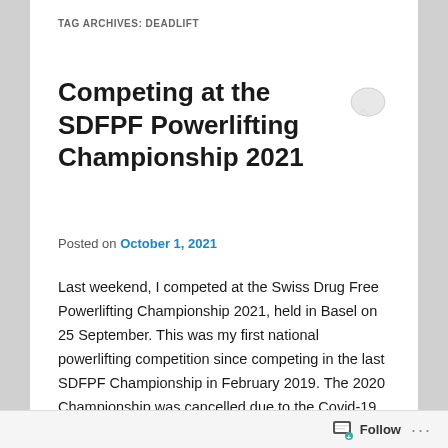TAG ARCHIVES: DEADLIFT
Competing at the SDFPF Powerlifting Championship 2021
Posted on October 1, 2021
Last weekend, I competed at the Swiss Drug Free Powerlifting Championship 2021, held in Basel on 25 September. This was my first national powerlifting competition since competing in the last SDFPF Championship in February 2019. The 2020 Championship was cancelled due to the Covid-19 pandemic.
During the pandemic I managed to lose around 10 kg bodyweight and competed this year in the 82.5 – 90 kg
Follow